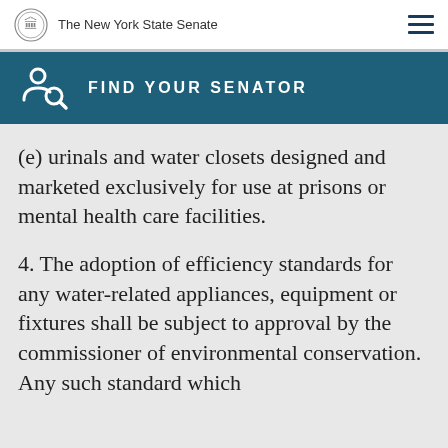The New York State Senate
FIND YOUR SENATOR
(e) urinals and water closets designed and marketed exclusively for use at prisons or mental health care facilities.
4. The adoption of efficiency standards for any water-related appliances, equipment or fixtures shall be subject to approval by the commissioner of environmental conservation. Any such standard which